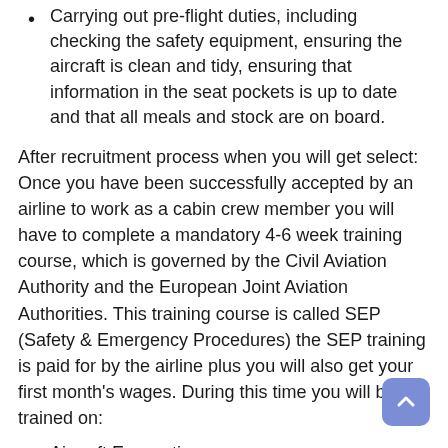Carrying out pre-flight duties, including checking the safety equipment, ensuring the aircraft is clean and tidy, ensuring that information in the seat pockets is up to date and that all meals and stock are on board.
After recruitment process when you will get select: Once you have been successfully accepted by an airline to work as a cabin crew member you will have to complete a mandatory 4-6 week training course, which is governed by the Civil Aviation Authority and the European Joint Aviation Authorities. This training course is called SEP (Safety & Emergency Procedures) the SEP training is paid for by the airline plus you will also get your first month’s wages. During this time you will be trained on:
Aircraft Evacuation
Ditching (landing on water)
Decompression
Fire Fighting
Passenger Management
Security Related Issues
Extraordinary Situations